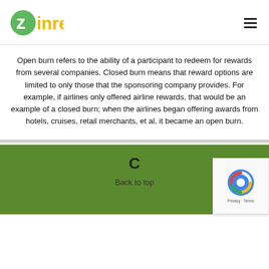Zinrelo
Open burn refers to the ability of a participant to redeem for rewards from several companies. Closed burn means that reward options are limited to only those that the sponsoring company provides. For example, if airlines only offered airline rewards, that would be an example of a closed burn; when the airlines began offering awards from hotels, cruises, retail merchants, et al, it became an open burn.
C
Back to top